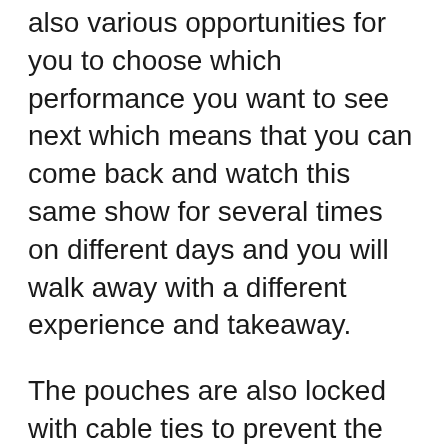also various opportunities for you to choose which performance you want to see next which means that you can come back and watch this same show for several times on different days and you will walk away with a different experience and takeaway.
The pouches are also locked with cable ties to prevent the audience from doing disruptive things like playing with your mobile phone or snapping pictures with them while on the theatre trail. This adds to the overall immersive experience whereby everyone is stripped bare of modern technology as we walk back into time to explore stories from different time periods in Singapore.